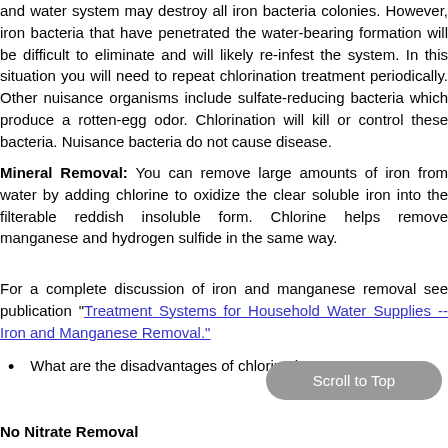and water system may destroy all iron bacteria colonies. However, iron bacteria that have penetrated the water-bearing formation will be difficult to eliminate and will likely re-infest the system. In this situation you will need to repeat chlorination treatment periodically. Other nuisance organisms include sulfate-reducing bacteria which produce a rotten-egg odor. Chlorination will kill or control these bacteria. Nuisance bacteria do not cause disease.
Mineral Removal: You can remove large amounts of iron from water by adding chlorine to oxidize the clear soluble iron into the filterable reddish insoluble form. Chlorine helps remove manganese and hydrogen sulfide in the same way.
For a complete discussion of iron and manganese removal see publication "Treatment Systems for Household Water Supplies -- Iron and Manganese Removal."
What are the disadvantages of chlorination?
No Nitrate Removal